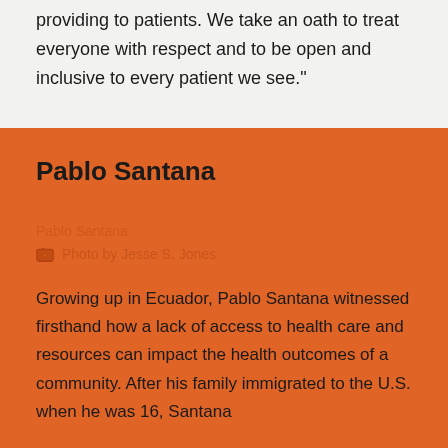providing to patients. We take an oath to treat everyone with respect and to be open and inclusive to every patient we see."
Pablo Santana
Pablo Santana
Photo by Jesse S. Jones
Growing up in Ecuador, Pablo Santana witnessed firsthand how a lack of access to health care and resources can impact the health outcomes of a community. After his family immigrated to the U.S. when he was 16, Santana